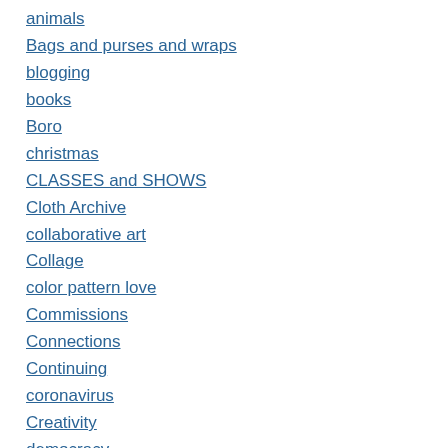animals
Bags and purses and wraps
blogging
books
Boro
christmas
CLASSES and SHOWS
Cloth Archive
collaborative art
Collage
color pattern love
Commissions
Connections
Continuing
coronavirus
Creativity
democracy
digital play
Discovered online